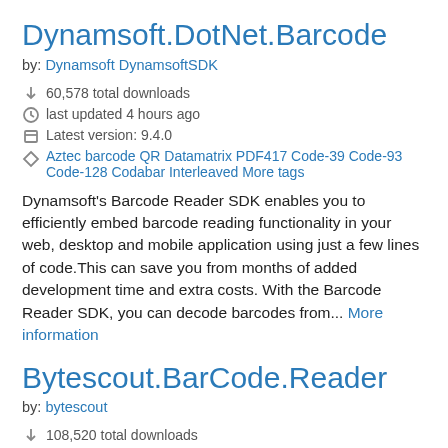Dynamsoft.DotNet.Barcode
by: Dynamsoft DynamsoftSDK
60,578 total downloads
last updated 4 hours ago
Latest version: 9.4.0
Aztec barcode QR Datamatrix PDF417 Code-39 Code-93 Code-128 Codabar Interleaved More tags
Dynamsoft's Barcode Reader SDK enables you to efficiently embed barcode reading functionality in your web, desktop and mobile application using just a few lines of code.This can save you from months of added development time and extra costs. With the Barcode Reader SDK, you can decode barcodes from... More information
Bytescout.BarCode.Reader
by: bytescout
108,520 total downloads
last updated 2 months ago
Latest version: 11.8.1.2087